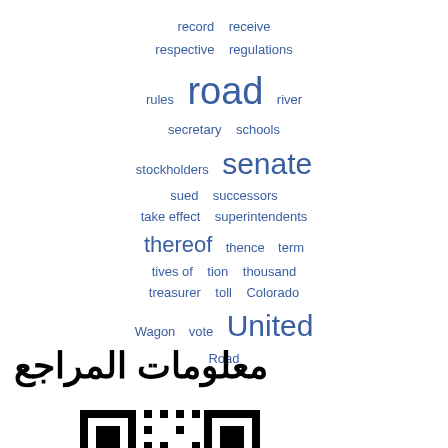[Figure (other): Word cloud with terms: record, receive, respective, regulations, rules, road, river, secretary, schools, stockholders, senate, sued, successors, take effect, superintendents, thereof, thence, term, tives of, tion, thousand, treasurer, toll, Colorado, Wagon, vote, United, Road]
معلومات المراجع
[Figure (other): QR code image]